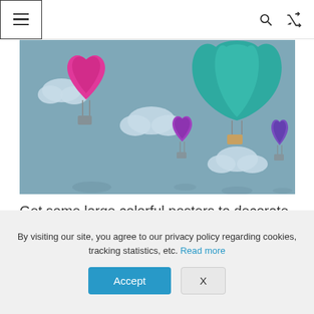☰ [menu] [search] [shuffle]
[Figure (illustration): Colorful paper-art style illustration of heart-shaped hot air balloons floating among clouds on a blue-grey sky background. A large pink balloon on the left, a small purple balloon in the middle, a large teal balloon on the upper right, and a small purple balloon on the far right.]
Get some large colorful posters to decorate your child's room or the learning space you use. Point
By visiting our site, you agree to our privacy policy regarding cookies, tracking statistics, etc. Read more
Accept
X